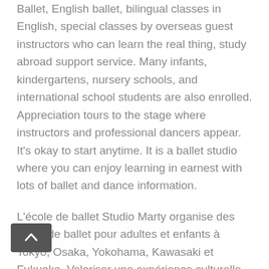Ballet, English ballet, bilingual classes in English, special classes by overseas guest instructors who can learn the real thing, study abroad support service. Many infants, kindergartens, nursery schools, and international school students are also enrolled. Appreciation tours to the stage where instructors and professional dancers appear. It's okay to start anytime. It is a ballet studio where you can enjoy learning in earnest with lots of ballet and dance information.
L'école de ballet Studio Marty organise des cours de ballet pour adultes et enfants à Tokyo, Osaka, Yokohama, Kawasaki et Fukuoka. Valoriser une expérience culturelle et artistique internationale. Le ballet et la danse sont également idéaux pour les enfants, les tout-petits et les cours de maternelle, l'exercice, les loisirs, l'éducation, l'expressivité, la flexibilité et un entraînement parfait au pitch. Populaire auprès des garçons et des filles. Des leçons de haute qualité, un environnement optimal au sol et en studio pour le ballet, une structure tarifaire raisonnable et facile à comprendre, une aide au transfert et des leçons en ligne. Classe